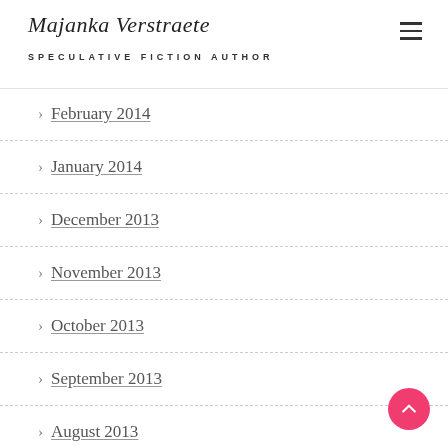Majanka Verstraete - SPECULATIVE FICTION AUTHOR
February 2014
January 2014
December 2013
November 2013
October 2013
September 2013
August 2013